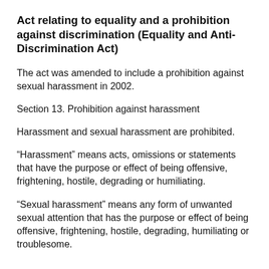Act relating to equality and a prohibition against discrimination (Equality and Anti-Discrimination Act)
The act was amended to include a prohibition against sexual harassment in 2002.
Section 13. Prohibition against harassment
Harassment and sexual harassment are prohibited.
“Harassment” means acts, omissions or statements that have the purpose or effect of being offensive, frightening, hostile, degrading or humiliating.
“Sexual harassment” means any form of unwanted sexual attention that has the purpose or effect of being offensive, frightening, hostile, degrading, humiliating or troublesome.